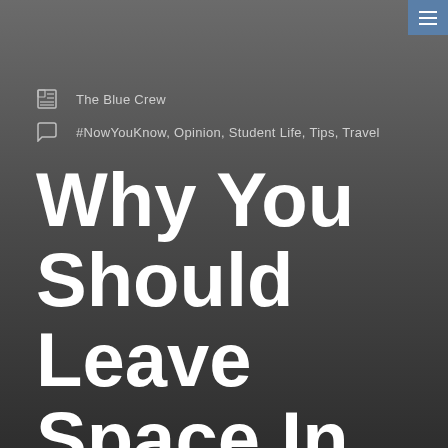The Blue Crew
#NowYouKnow, Opinion, Student Life, Tips, Travel
Why You Should Leave Space In Your Suitcase